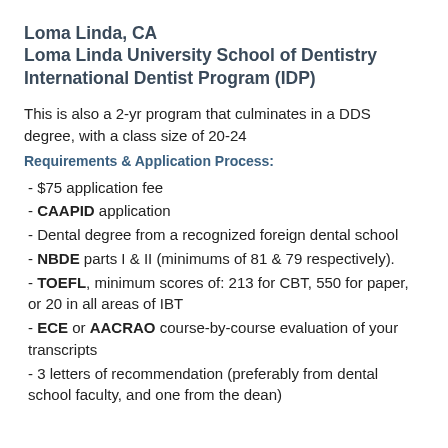Loma Linda, CA
Loma Linda University School of Dentistry
International Dentist Program (IDP)
This is also a 2-yr program that culminates in a DDS degree, with a class size of 20-24
Requirements & Application Process:
- $75 application fee
- CAAPID application
- Dental degree from a recognized foreign dental school
- NBDE parts I & II (minimums of 81 & 79 respectively).
- TOEFL, minimum scores of: 213 for CBT, 550 for paper, or 20 in all areas of IBT
- ECE or AACRAO course-by-course evaluation of your transcripts
- 3 letters of recommendation (preferably from dental school faculty, and one from the dean)